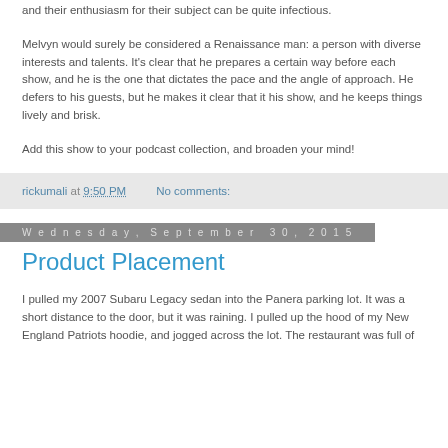and their enthusiasm for their subject can be quite infectious.
Melvyn would surely be considered a Renaissance man: a person with diverse interests and talents. It's clear that he prepares a certain way before each show, and he is the one that dictates the pace and the angle of approach. He defers to his guests, but he makes it clear that it his show, and he keeps things lively and brisk.
Add this show to your podcast collection, and broaden your mind!
rickumali at 9:50 PM   No comments:
Wednesday, September 30, 2015
Product Placement
I pulled my 2007 Subaru Legacy sedan into the Panera parking lot. It was a short distance to the door, but it was raining. I pulled up the hood of my New England Patriots hoodie, and jogged across the lot. The restaurant was full of